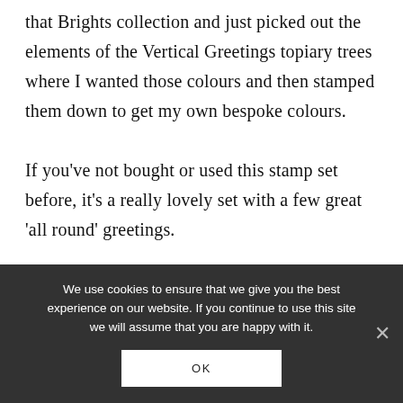that Brights collection and just picked out the elements of the Vertical Greetings topiary trees where I wanted those colours and then stamped them down to get my own bespoke colours.

If you've not bought or used this stamp set before, it's a really lovely set with a few great 'all round' greetings.
We use cookies to ensure that we give you the best experience on our website. If you continue to use this site we will assume that you are happy with it. OK